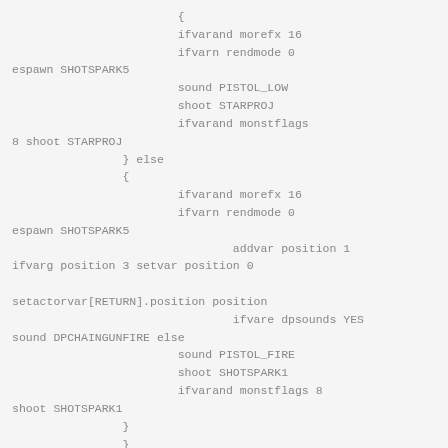{
                        ifvarand morefx 16
                        ifvarn rendmode 0 espawn SHOTSPARK5
                        sound PISTOL_LOW
                        shoot STARPROJ
                        ifvarand monstflags 8 shoot STARPROJ
                } else
                {
                        ifvarand morefx 16
                        ifvarn rendmode 0 espawn SHOTSPARK5
                                        addvar position 1
ifvarg position 3 setvar position 0

setactorvar[RETURN].position position
                                ifvare dpsounds YES sound DPCHAINGUNFIRE else
                        sound PISTOL_FIRE
                        shoot SHOTSPARK1
                        ifvarand monstflags 8 shoot SHOTSPARK1
                }
                }
                }
                else